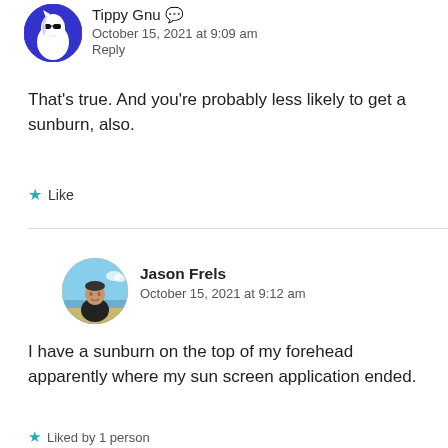[Figure (photo): Circular avatar of Tippy Gnu — illustrated horse/unicorn with sunglasses on blue background]
Tippy Gnu
October 15, 2021 at 9:09 am
Reply
That's true. And you're probably less likely to get a sunburn, also.
Like
[Figure (photo): Circular avatar photo of Jason Frels — man at beach/ocean]
Jason Frels
October 15, 2021 at 9:12 am
I have a sunburn on the top of my forehead apparently where my sun screen application ended.
Liked by 1 person